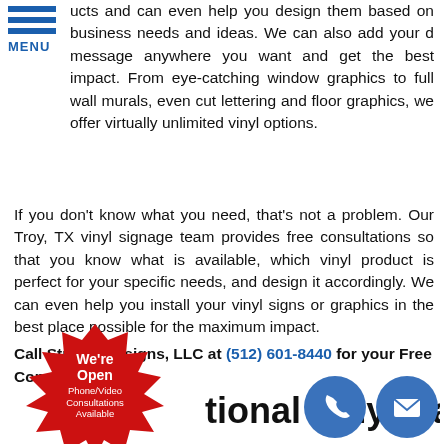[Figure (logo): Blue hamburger menu icon with three horizontal bars and MENU label below]
ucts and can even help you design them based on business needs and ideas. We can also add your d message anywhere you want and get the best impact. From eye-catching window graphics to full wall murals, even cut lettering and floor graphics, we offer virtually unlimited vinyl options.
If you don't know what you need, that's not a problem. Our Troy, TX vinyl signage team provides free consultations so that you know what is available, which vinyl product is perfect for your specific needs, and design it accordingly. We can even help you install your vinyl signs or graphics in the best place possible for the maximum impact.
Call Stryker Designs, LLC at (512) 601-8440 for your Free Consultation!
tional Vinyl Banners
[Figure (infographic): Red starburst badge with white text: We're Open Phone/Video Consultations Available]
[Figure (other): Two blue circle icons: phone handset icon and envelope/email icon]